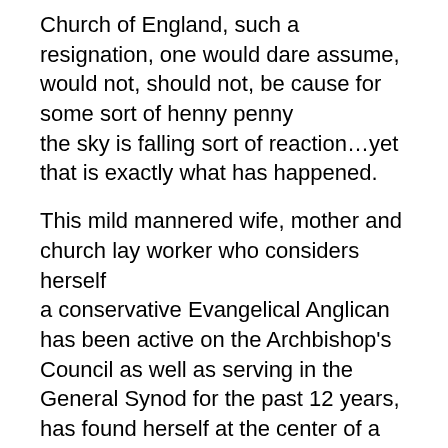Church of England, such a resignation, one would dare assume, would not, should not, be cause for some sort of henny penny the sky is falling sort of reaction…yet that is exactly what has happened.
This mild mannered wife, mother and church lay worker who considers herself a conservative Evangelical Anglican has been active on the Archbishop's Council as well as serving in the General Synod for the past 12 years, has found herself at the center of a growing maelstrom and as somewhat of a poster child if you will, for the Orthodox voice of the Church.